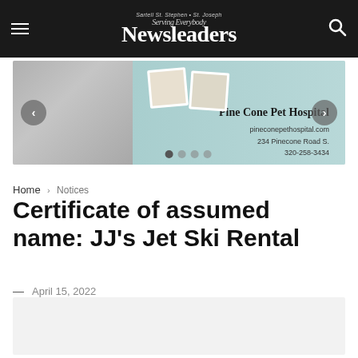Newsleaders — Sartell St. Stephen • St. Joseph — Serving Everybody
[Figure (screenshot): Advertisement banner for Pine Cone Pet Hospital showing building exterior on left and pet photos on teal background on right, with navigation arrows and dot pagination. Text: Pine Cone Pet Hospital, pineconepethospital.com, 234 Pinecone Road S., 320-258-3434]
Home › Notices
Certificate of assumed name: JJ's Jet Ski Rental
— April 15, 2022